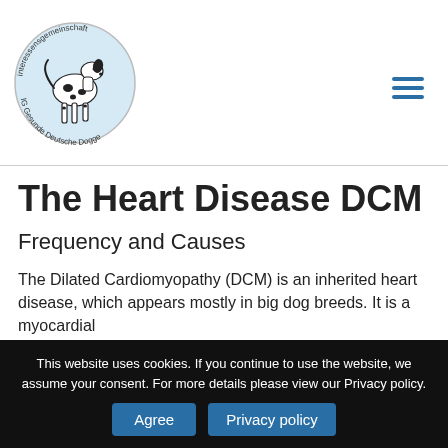[Figure (logo): Circular logo with a dalmatian dog illustration, text around circle: 'interessensgemeinschaft' at top, 'IG Gesunde Deutsche Dogge' at bottom. Light blue background inside circle.]
The Heart Disease DCM
Frequency and Causes
The Dilated Cardiomyopathy (DCM) is an inherited heart disease, which appears mostly in big dog breeds. It is a myocardial
This website uses cookies. If you continue to use the website, we assume your consent. For more details please view our Privacy policy.